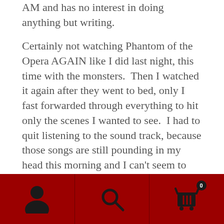AM and has no interest in doing anything but writing.
Certainly not watching Phantom of the Opera AGAIN like I did last night, this time with the monsters.  Then I watched it again after they went to bed, only I fast forwarded through everything to hit only the scenes I wanted to see.  I had to quit listening to the sound track, because those songs are still pounding in my head this morning and I can’t seem to think of anything else.
So this is a rather sorry update.  I will not be finishing 7Crows by the end of the month.  I’ve finished one scene of 20+.  It’s not going to happen.  That’s fine.  I’ll take my time and do it right the first time, AFTER I finish the Maya revision, which I haven’t touched for days.
[Figure (other): Dark red navigation bar with three icons: person/user icon, search/magnifying glass icon, and shopping cart icon with badge showing 0]